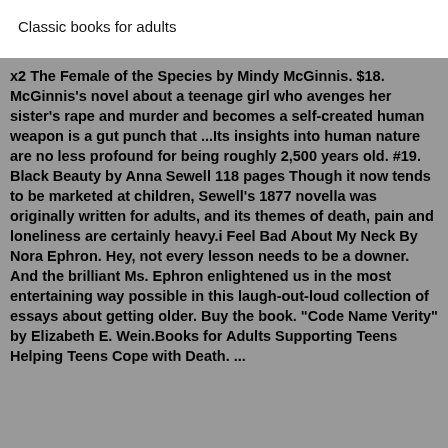Classic books for adults
x2 The Female of the Species by Mindy McGinnis. $18. McGinnis's novel about a teenage girl who avenges her sister's rape and murder and becomes a self-created human weapon is a gut punch that ...Its insights into human nature are no less profound for being roughly 2,500 years old. #19. Black Beauty by Anna Sewell 118 pages Though it now tends to be marketed at children, Sewell's 1877 novella was originally written for adults, and its themes of death, pain and loneliness are certainly heavy.i Feel Bad About My Neck By Nora Ephron. Hey, not every lesson needs to be a downer. And the brilliant Ms. Ephron enlightened us in the most entertaining way possible in this laugh-out-loud collection of essays about getting older. Buy the book. "Code Name Verity" by Elizabeth E. Wein.Books for Adults Supporting Teens Helping Teens Cope with Death. ...